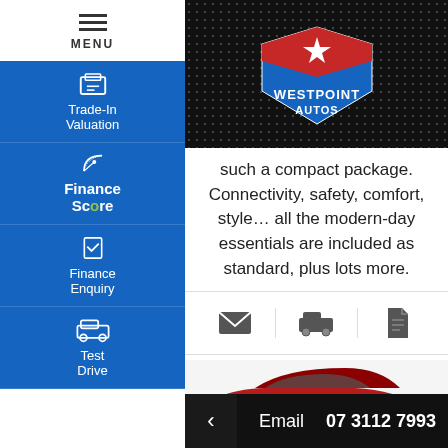[Figure (logo): WestPoint Autos logo - blue and red shield with white star and text]
such a compact package. Connectivity, safety, comfort, style... all the modern-day essentials are included as standard, plus lots more.
[Figure (infographic): Three icons: email envelope, car, document]
KONA
[Figure (photo): Red Hyundai Kona SUV partial view]
Email  07 3112 7993